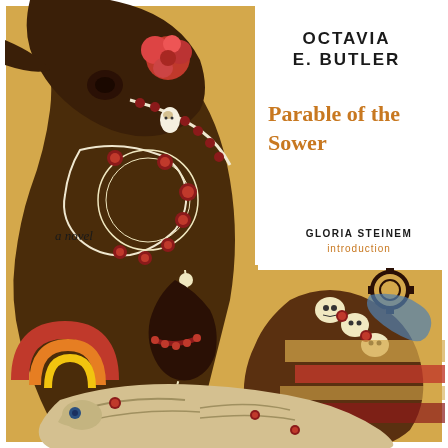[Figure (illustration): Book cover artwork: a large, ornate stylized bird (raven/crow) figure in dark brown with intricate decorative patterns, beads, skulls, and jewels. The figure has a curved neck forming a C-shape against a warm golden/ochre background. Decorative elements include a red rose, colorful geometric patterns in red, orange, and blue at the bottom left, a skeletal bird figure at the base, and warm earth tones throughout. The white space of the book cover is visible on the right side where text appears.]
OCTAVIA E. BUTLER
Parable of the Sower
a novel
GLORIA STEINEM
introduction